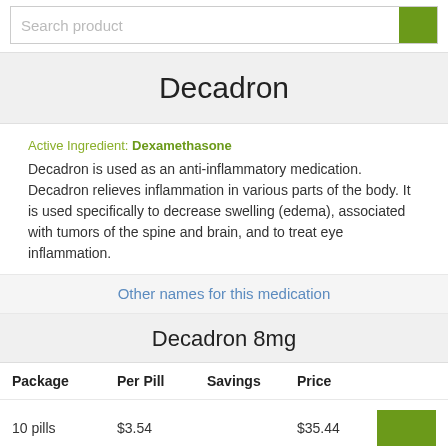Search product
Decadron
Active Ingredient: Dexamethasone
Decadron is used as an anti-inflammatory medication. Decadron relieves inflammation in various parts of the body. It is used specifically to decrease swelling (edema), associated with tumors of the spine and brain, and to treat eye inflammation.
Other names for this medication
Decadron 8mg
| Package | Per Pill | Savings | Price |  |
| --- | --- | --- | --- | --- |
| 10 pills | $3.54 |  | $35.44 |  |